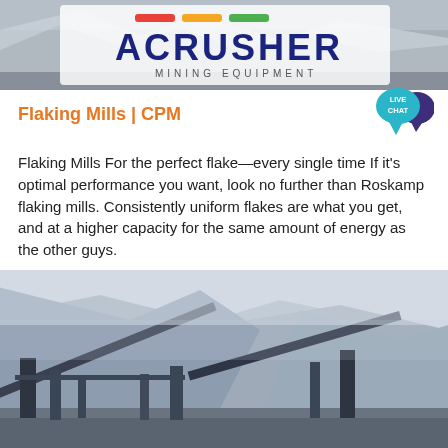[Figure (logo): ACRUSHER Mining Equipment logo with colored stripes (red, orange, green) above bold dark blue ACRUSHER text and 'MINING EQUIPMENT' subtitle, on a grey/outdoor photo banner background]
Flaking Mills | CPM
[Figure (illustration): Live Chat badge — teal speech bubble with 'LIVE CHAT' text and dark purple speech bubble icon]
Flaking Mills For the perfect flake—every single time If it's optimal performance you want, look no further than Roskamp flaking mills. Consistently uniform flakes are what you get, and at a higher capacity for the same amount of energy as the other guys.
Learn More →
[Figure (photo): Outdoor industrial mining/crushing equipment with conveyor belts and steel towers set against misty mountain landscape with grey hazy sky]